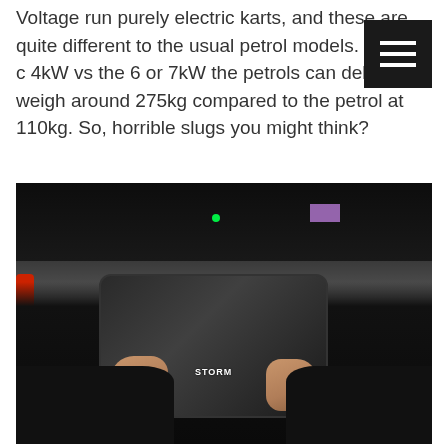Voltage run purely electric karts, and these are quite different to the usual petrol models. They're c 4kW vs the 6 or 7kW the petrols can deliver, weigh around 275kg compared to the petrol at 110kg. So, horrible slugs you might think?
[Figure (photo): Close-up photo of a person's hands gripping a black carbon-fibre patterned 'STORM' branded go-kart steering wheel inside an indoor karting venue. The background shows a dark track environment with a red barrier on the left, a green traffic light visible in the upper middle area, and a purple/pink screen in the upper right. The driver is wearing dark clothing.]